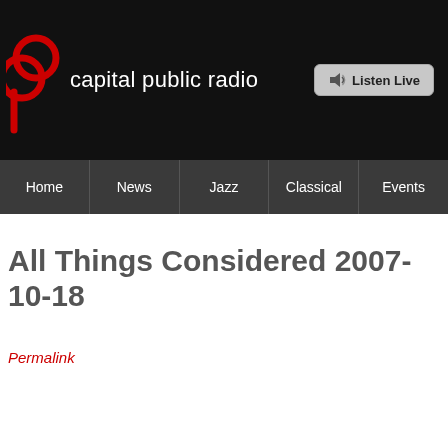capital public radio
[Figure (logo): Capital Public Radio logo: two overlapping red circles with a vertical red line, followed by white text 'capital public radio' and a 'Listen Live' button]
Home | News | Jazz | Classical | Events
All Things Considered 2007-10-18
Permalink